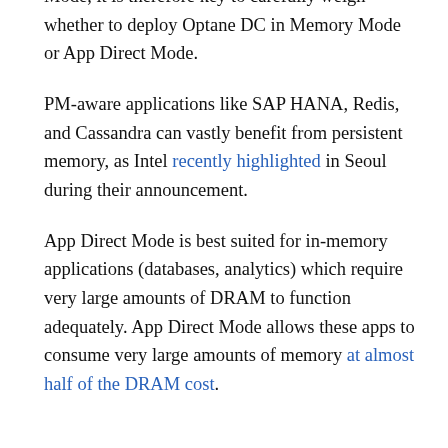Mode, it is therefore key to carefully weigh whether to deploy Optane DC in Memory Mode or App Direct Mode.
PM-aware applications like SAP HANA, Redis, and Cassandra can vastly benefit from persistent memory, as Intel recently highlighted in Seoul during their announcement.
App Direct Mode is best suited for in-memory applications (databases, analytics) which require very large amounts of DRAM to function adequately. App Direct Mode allows these apps to consume very large amounts of memory at almost half of the DRAM cost.